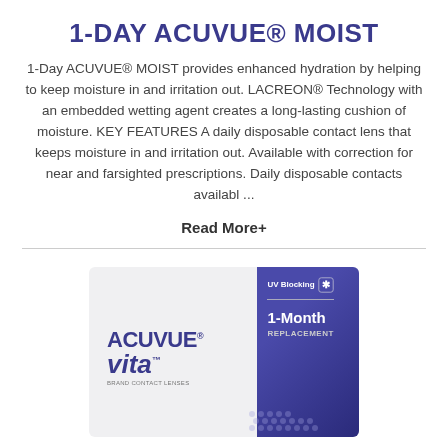1-DAY ACUVUE® MOIST
1-Day ACUVUE® MOIST provides enhanced hydration by helping to keep moisture in and irritation out. LACREON® Technology with an embedded wetting agent creates a long-lasting cushion of moisture. KEY FEATURES A daily disposable contact lens that keeps moisture in and irritation out. Available with correction for near and farsighted prescriptions. Daily disposable contacts availabl ...
Read More+
[Figure (photo): ACUVUE Vita brand contact lenses product box showing UV Blocking badge and 1-Month Replacement text on a blue/purple gradient background]